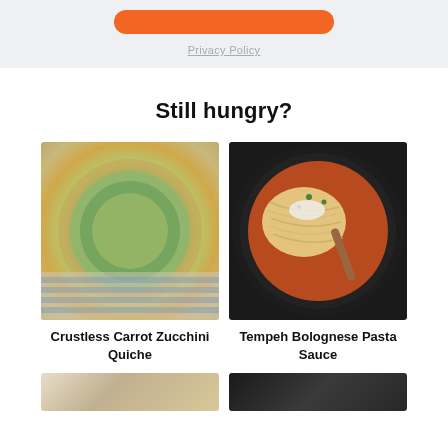[Figure (other): Orange rounded rectangle button at top]
Privacy Policy
Still hungry?
[Figure (photo): Crustless Carrot Zucchini Quiche in a white baking dish on a striped blue towel]
Crustless Carrot Zucchini Quiche
[Figure (photo): Tempeh Bolognese Pasta Sauce in a black cast iron skillet with spaghetti and herbs]
Tempeh Bolognese Pasta Sauce
[Figure (photo): Partial bottom-left food photo]
[Figure (photo): Partial bottom-right food photo]